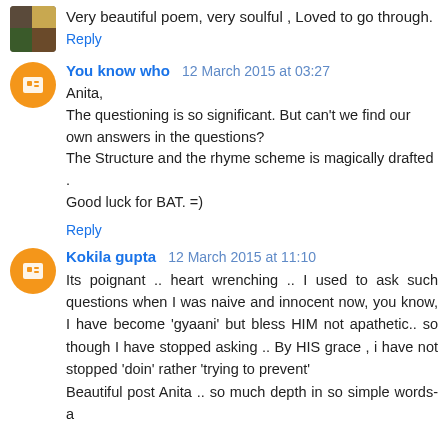Very beautiful poem, very soulful , Loved to go through.
Reply
You know who  12 March 2015 at 03:27
Anita,
The questioning is so significant. But can't we find our own answers in the questions?
The Structure and the rhyme scheme is magically drafted .
Good luck for BAT. =)
Reply
Kokila gupta  12 March 2015 at 11:10
Its poignant .. heart wrenching .. I used to ask such questions when I was naive and innocent now, you know, I have become 'gyaani' but bless HIM not apathetic.. so though I have stopped asking .. By HIS grace , i have not stopped 'doin' rather 'trying to prevent'
Beautiful post Anita .. so much depth in so simple words- a